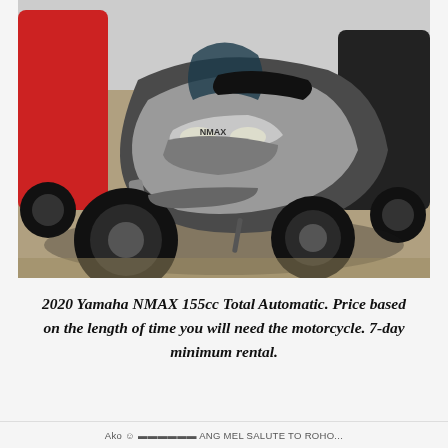[Figure (photo): Photo of a 2020 Yamaha NMAX 155cc scooter in silver/black color, parked in a showroom. A red motorcycle is visible in the background on the left.]
2020 Yamaha NMAX 155cc Total Automatic. Price based on the length of time you will need the motorcycle. 7-day minimum rental.
Ako @ [contact] ANG MEL SALUTE TO ROHO...